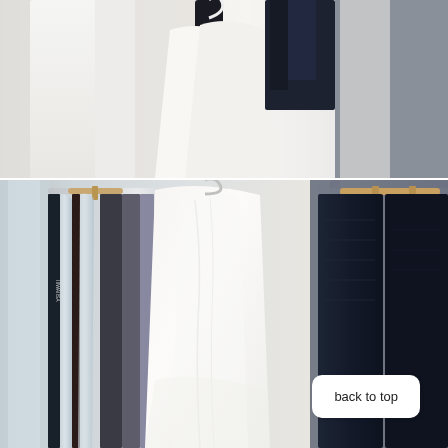[Figure (photo): Close-up photo of clothing hanging on a rack, showing white garments and dark navy/black items. A dark hanger is visible at the top center, with white fabric and a dark folded garment against a light background.]
[Figure (photo): Close-up photo of clothing on a clothing rack. On the left side, plastic-covered garments are visible with a wooden hanger. In the center, white flowing fabric hangs draped. On the right, dark navy sweaters/knits hang on wooden hangers. A small label reading 'IIIWAIISA' or similar is visible on one of the garments.]
back to top